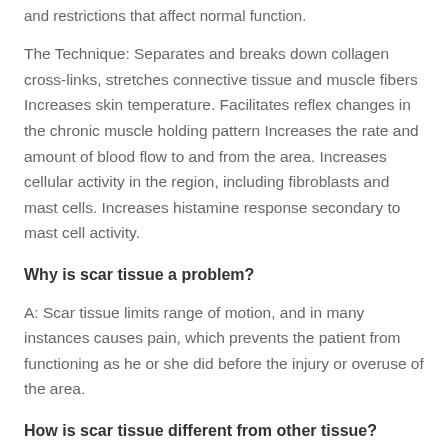and restrictions that affect normal function.
The Technique: Separates and breaks down collagen cross-links, stretches connective tissue and muscle fibers Increases skin temperature. Facilitates reflex changes in the chronic muscle holding pattern Increases the rate and amount of blood flow to and from the area. Increases cellular activity in the region, including fibroblasts and mast cells. Increases histamine response secondary to mast cell activity.
Why is scar tissue a problem?
A: Scar tissue limits range of motion, and in many instances causes pain, which prevents the patient from functioning as he or she did before the injury or overuse of the area.
How is scar tissue different from other tissue?